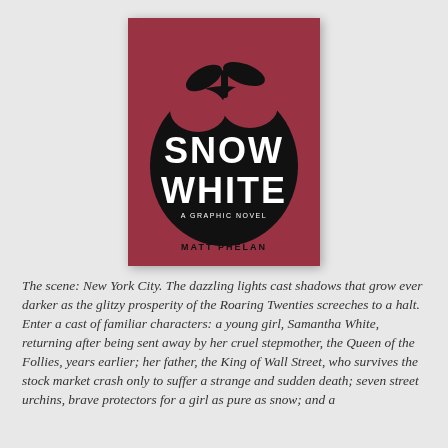[Figure (illustration): Book cover of 'Snow White: A Graphic Novel' by Matt Phelan. Dark red/mauve background with a large black apple silhouette. Text 'SNOW WHITE' in bold decorative white lettering inside the apple, with 'A GRAPHIC NOVEL' in smaller text and 'MATT PHELAN' at the bottom.]
The scene: New York City. The dazzling lights cast shadows that grow ever darker as the glitzy prosperity of the Roaring Twenties screeches to a halt. Enter a cast of familiar characters: a young girl, Samantha White, returning after being sent away by her cruel stepmother, the Queen of the Follies, years earlier; her father, the King of Wall Street, who survives the stock market crash only to suffer a strange and sudden death; seven street urchins, brave protectors for a girl as pure as snow; and a